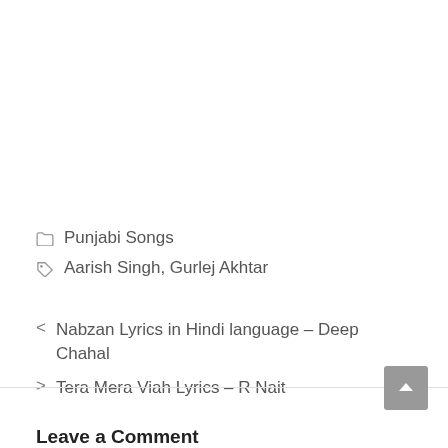Punjabi Songs
Aarish Singh, Gurlej Akhtar
< Nabzan Lyrics in Hindi language – Deep Chahal
> Tera Mera Viah Lyrics – R Nait
Leave a Comment